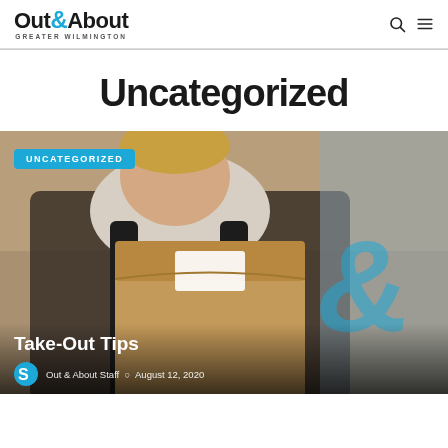Out&About Greater Wilmington
Uncategorized
[Figure (photo): Person wearing black apron holding a brown paper takeout bag, with a blurred blue ampersand logo watermark in the background. Category badge reads UNCATEGORIZED.]
Take-Out Tips
Out & About Staff  August 12, 2020